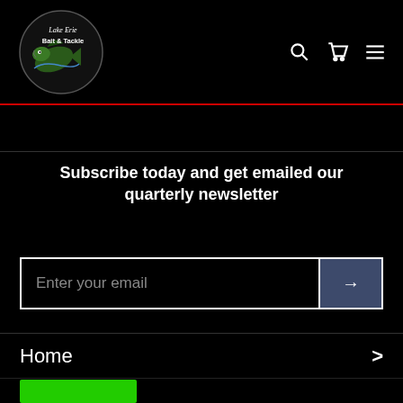[Figure (logo): Lake Erie Bait & Tackle logo — circular logo with a bass fish jumping and text 'Lake Erie Bait & Tackle' in white on black background]
Subscribe today and get emailed our quarterly newsletter
Enter your email
Home